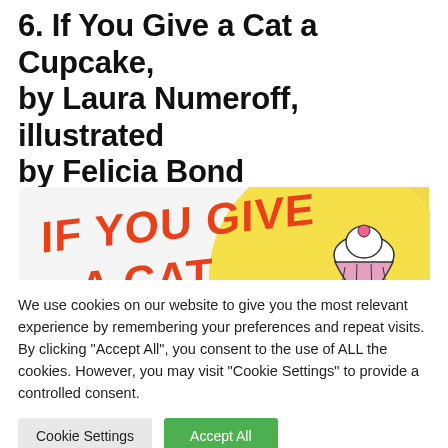6. If You Give a Cat a Cupcake, by Laura Numeroff, illustrated by Felicia Bond
[Figure (illustration): Book cover of 'If You Give a Cat a Cupcake' showing red/orange hand-lettered title text on a white/yellow background with illustrated cupcakes and sprinkles.]
We use cookies on our website to give you the most relevant experience by remembering your preferences and repeat visits. By clicking “Accept All”, you consent to the use of ALL the cookies. However, you may visit "Cookie Settings" to provide a controlled consent.